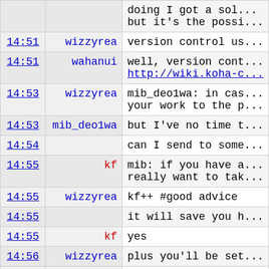| Time | User | Message |
| --- | --- | --- |
|  |  | doing I got a sol... but it's the possi... |
| 14:51 | wizzyrea | version control us... |
| 14:51 | wahanui | well, version cont... http://wiki.koha-c... |
| 14:53 | wizzyrea | mib_deo1wa: in cas... your work to the p... |
| 14:53 | mib_deo1wa | but I've no time t... |
| 14:54 |  | can I send to some... |
| 14:55 | kf | mib: if you have a... really want to tak... |
| 14:55 | wizzyrea | kf++ #good advice |
| 14:55 |  | it will save you h... |
| 14:55 | kf | yes |
| 14:56 | wizzyrea | plus you'll be set... |
| 14:56 |  | and get your name ... accepted. :) |
| 14:57 | mib_deo1wa | maybe later :) fi... |